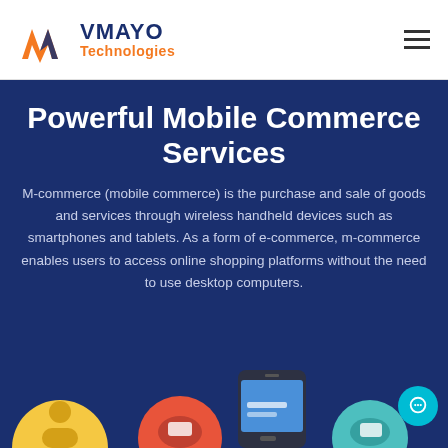[Figure (logo): VMAYO Technologies logo with orange M-shaped graphic and dark blue text]
Powerful Mobile Commerce Services
M-commerce (mobile commerce) is the purchase and sale of goods and services through wireless handheld devices such as smartphones and tablets. As a form of e-commerce, m-commerce enables users to access online shopping platforms without the need to use desktop computers.
[Figure (illustration): Row of circular icons and a smartphone illustration at the bottom of the dark blue hero section]